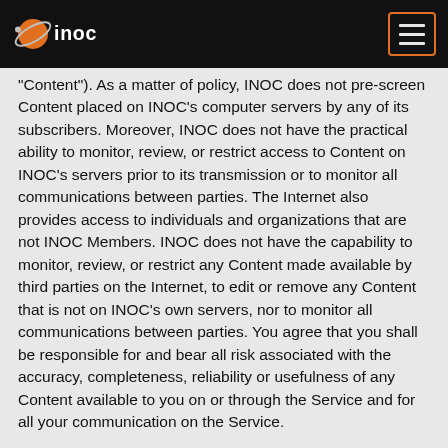[Figure (logo): INOC logo — orange globe/orbit graphic with white 'inoc' text on black header bar]
"Content"). As a matter of policy, INOC does not pre-screen Content placed on INOC's computer servers by any of its subscribers. Moreover, INOC does not have the practical ability to monitor, review, or restrict access to Content on INOC's servers prior to its transmission or to monitor all communications between parties. The Internet also provides access to individuals and organizations that are not INOC Members. INOC does not have the capability to monitor, review, or restrict any Content made available by third parties on the Internet, to edit or remove any Content that is not on INOC's own servers, nor to monitor all communications between parties. You agree that you shall be responsible for and bear all risk associated with the accuracy, completeness, reliability or usefulness of any Content available to you on or through the Service and for all your communication on the Service.